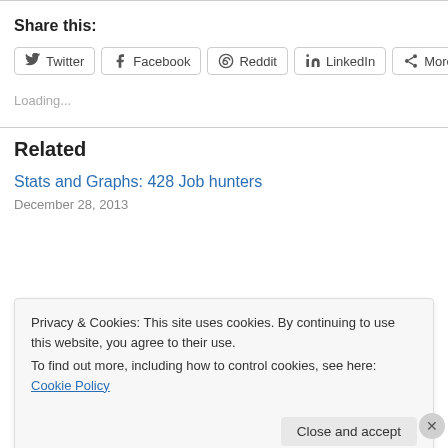Share this:
Twitter | Facebook | Reddit | LinkedIn | More
Loading...
Related
Stats and Graphs: 428 Job hunters
December 28, 2013
Privacy & Cookies: This site uses cookies. By continuing to use this website, you agree to their use.
To find out more, including how to control cookies, see here: Cookie Policy